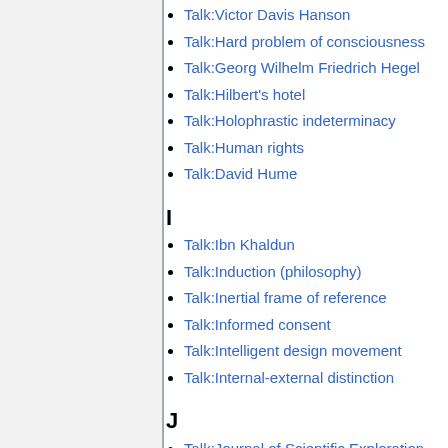Talk:Victor Davis Hanson
Talk:Hard problem of consciousness
Talk:Georg Wilhelm Friedrich Hegel
Talk:Hilbert's hotel
Talk:Holophrastic indeterminacy
Talk:Human rights
Talk:David Hume
I
Talk:Ibn Khaldun
Talk:Induction (philosophy)
Talk:Inertial frame of reference
Talk:Informed consent
Talk:Intelligent design movement
Talk:Internal-external distinction
J
Talk:Journal of Scientific Exploration
Talk:Just war theory
Talk:Justice